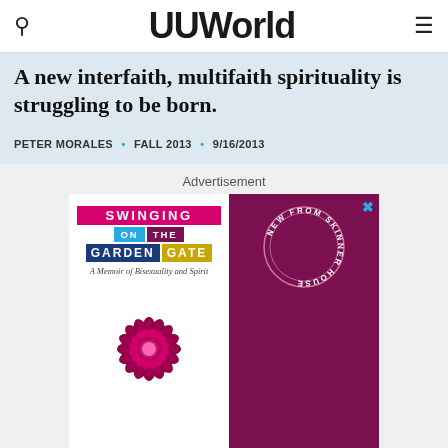UUWorld
A new interfaith, multifaith spirituality is struggling to be born.
PETER MORALES • FALL 2013 • 9/16/2013
Advertisement
[Figure (illustration): Book advertisement for 'Swinging on the Garden Gate: A Memoir of Bisexuality and Spirit' published by Skinner House, featuring a pink/magenta dahlia flower on a white book cover panel against a dark magenta background with a circular 'New from Skinner House' badge.]